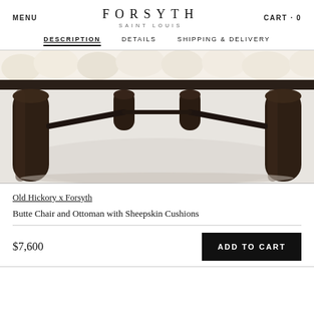MENU   FORSYTH SAINT LOUIS   CART · 0
DESCRIPTION   DETAILS   SHIPPING & DELIVERY
[Figure (photo): Close-up photo of ottoman/chair legs — dark wood cylindrical legs with cream/white sheepskin cushion visible at top, against a light gray background]
Old Hickory x Forsyth
Butte Chair and Ottoman with Sheepskin Cushions
$7,600
ADD TO CART